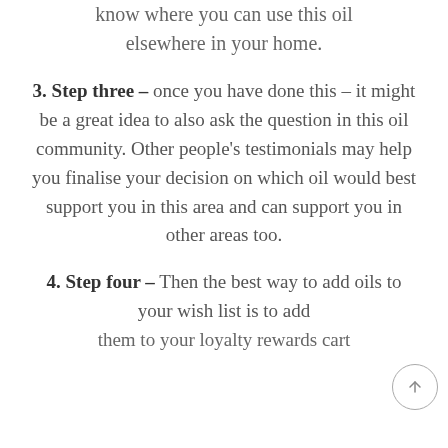know where you can use this oil elsewhere in your home.
3. Step three – once you have done this – it might be a great idea to also ask the question in this oil community. Other people's testimonials may help you finalise your decision on which oil would best support you in this area and can support you in other areas too.
4. Step four – Then the best way to add oils to your wish list is to add them to your loyalty rewards cart